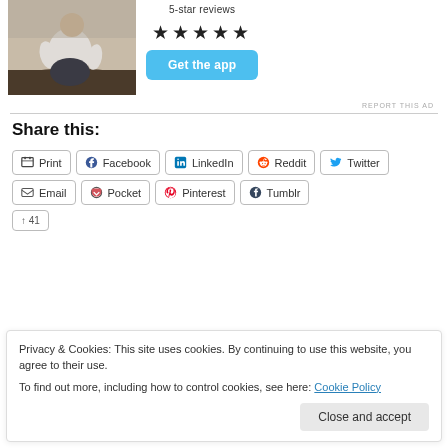[Figure (photo): Person sitting on rocks outdoors, viewed from behind, wearing a light shirt]
5-star reviews
★★★★★
Get the app
REPORT THIS AD
Share this:
Print
Facebook
LinkedIn
Reddit
Twitter
Email
Pocket
Pinterest
Tumblr
Privacy & Cookies: This site uses cookies. By continuing to use this website, you agree to their use.
To find out more, including how to control cookies, see here: Cookie Policy
Close and accept